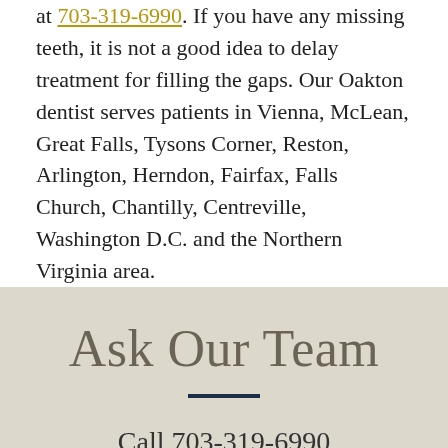at 703-319-6990. If you have any missing teeth, it is not a good idea to delay treatment for filling the gaps. Our Oakton dentist serves patients in Vienna, McLean, Great Falls, Tysons Corner, Reston, Arlington, Herndon, Fairfax, Falls Church, Chantilly, Centreville, Washington D.C. and the Northern Virginia area.
Ask Our Team
Call 703-319-6990
or send us a message